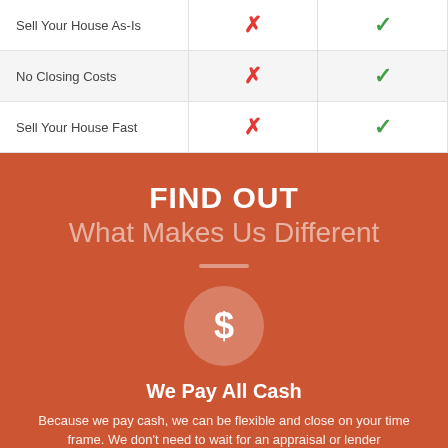| Feature | Other | Us |
| --- | --- | --- |
| Sell Your House As-Is | ✗ | ✓ |
| No Closing Costs | ✗ | ✓ |
| Sell Your House Fast | ✗ | ✓ |
FIND OUT
What Makes Us Different
[Figure (illustration): Dollar sign icon inside a light circular background]
We Pay All Cash
Because we pay cash, we can be flexible and close on your time frame. We don't need to wait for an appraisal or lender